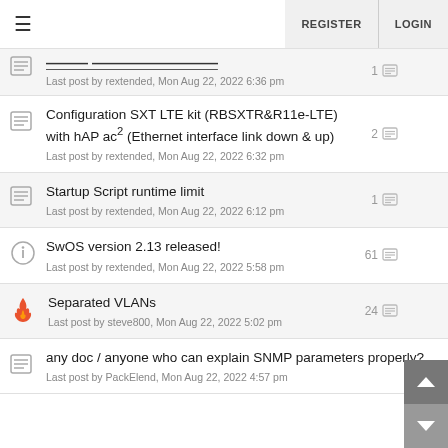≡  REGISTER  LOGIN
Configuration SXT LTE kit (RBSXTR&R11e-LTE) with hAP ac² (Ethernet interface link down & up)
Last post by rextended, Mon Aug 22, 2022 6:32 pm  2
Startup Script runtime limit
Last post by rextended, Mon Aug 22, 2022 6:12 pm  1
SwOS version 2.13 released!
Last post by rextended, Mon Aug 22, 2022 5:58 pm  61
Separated VLANs
Last post by steve800, Mon Aug 22, 2022 5:02 pm  24
any doc / anyone who can explain SNMP parameters properly?
Last post by PackElend, Mon Aug 22, 2022 4:57 pm